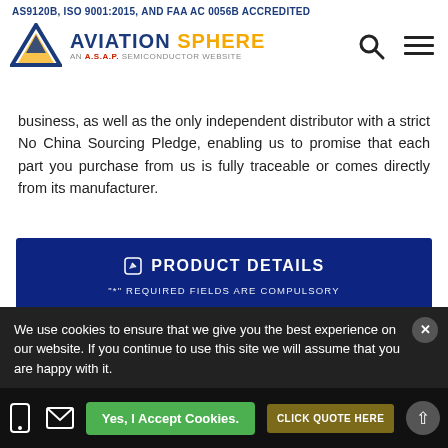AS9120B, ISO 9001:2015, AND FAA AC 0056B ACCREDITED | AVIATION SPHERE - AN A.S.A.P. SEMICONDUCTOR WEBSITE
business, as well as the only independent distributor with a strict No China Sourcing Pledge, enabling us to promise that each part you purchase from us is fully traceable or comes directly from its manufacturer.
✎ PRODUCT DETAILS
"*" REQUIRED FIELDS ARE COMPULSORY
Enter Mfg Part Number *
TMC2301H8C
Raytheon Co
We use cookies to ensure that we give you the best experience on our website. If you continue to use this site we will assume that you are happy with it.
Yes, I Accept Cookies.
CLICK QUOTE HERE